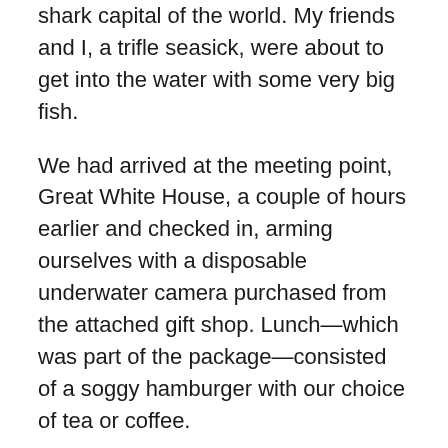shark capital of the world. My friends and I, a trifle seasick, were about to get into the water with some very big fish.
We had arrived at the meeting point, Great White House, a couple of hours earlier and checked in, arming ourselves with a disposable underwater camera purchased from the attached gift shop. Lunch—which was part of the package—consisted of a soggy hamburger with our choice of tea or coffee.
After eating just enough to stop our stomachs from growling, we were herded upstairs, where a slide show of fantastic photographs and factoids about great white sharks awaited us. Alison Towner, the leader of our trip, talked us through it. A British marine biologist, Towner was collecting data for her research on great whites. Every trip undertaken by Marine Dynamics, the tour operator we